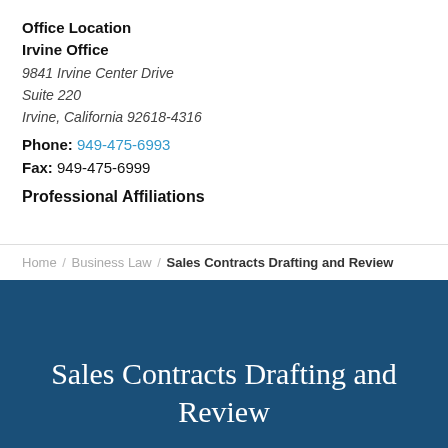Office Location
Irvine Office
9841 Irvine Center Drive
Suite 220
Irvine, California 92618-4316
Phone: 949-475-6993
Fax: 949-475-6999
Professional Affiliations
Home / Business Law / Sales Contracts Drafting and Review
Sales Contracts Drafting and Review